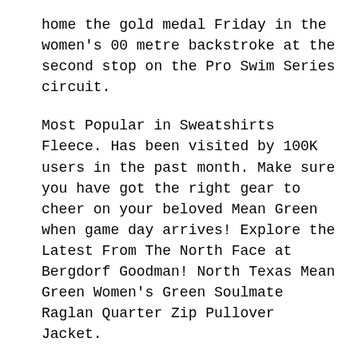home the gold medal Friday in the women's 00 metre backstroke at the second stop on the Pro Swim Series circuit.
Most Popular in Sweatshirts Fleece. Has been visited by 100K users in the past month. Make sure you have got the right gear to cheer on your beloved Mean Green when game day arrives! Explore the Latest From The North Face at Bergdorf Goodman! North Texas Mean Green Women's Green Soulmate Raglan Quarter Zip Pullover Jacket.
Green Carpet Meaning. Discover the Most Wanted Designer Styles and Luxury Gifts from Bergdorf Goodman. Mean Green Pest Control Green Energy Texas Texas Green Energy Green Mountain Power Texas Green Mountain Texas.